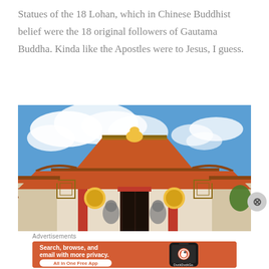Statues of the 18 Lohan, which in Chinese Buddhist belief were the 18 original followers of Gautama Buddha. Kinda like the Apostles were to Jesus, I guess.
[Figure (photo): Exterior view of a Chinese Buddhist temple with traditional red and gold pagoda-style roof against a blue sky with clouds]
Advertisements
[Figure (screenshot): DuckDuckGo advertisement banner: Search, browse, and email with more privacy. All in One Free App. Shows a smartphone with DuckDuckGo app.]